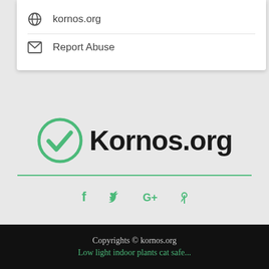kornos.org
Report Abuse
[Figure (logo): Kornos.org logo with green checkmark circle and bold text 'Kornos.org']
[Figure (infographic): Social media icons: Facebook, Twitter, Google+, Pinterest in green]
Copyrights © kornos.org
Low light indoor plants cat safe...